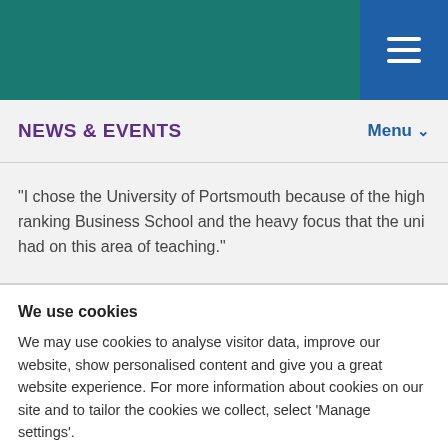NEWS & EVENTS
“I chose the University of Portsmouth because of the high ranking Business School and the heavy focus that the uni had on this area of teaching.”
We use cookies
We may use cookies to analyse visitor data, improve our website, show personalised content and give you a great website experience. For more information about cookies on our site and to tailor the cookies we collect, select ‘Manage settings’.
I’m OK with cookies
Manage settings